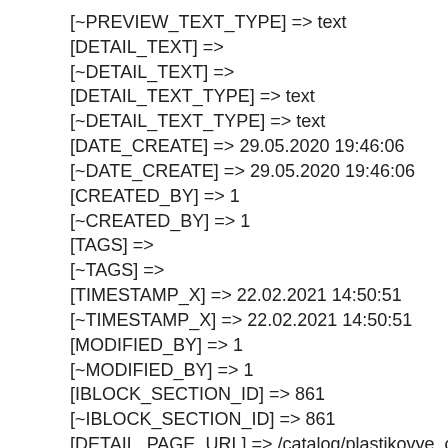[~PREVIEW_TEXT_TYPE] => text
[DETAIL_TEXT] =>
[~DETAIL_TEXT] =>
[DETAIL_TEXT_TYPE] => text
[~DETAIL_TEXT_TYPE] => text
[DATE_CREATE] => 29.05.2020 19:46:06
[~DATE_CREATE] => 29.05.2020 19:46:06
[CREATED_BY] => 1
[~CREATED_BY] => 1
[TAGS] =>
[~TAGS] =>
[TIMESTAMP_X] => 22.02.2021 14:50:51
[~TIMESTAMP_X] => 22.02.2021 14:50:51
[MODIFIED_BY] => 1
[~MODIFIED_BY] => 1
[IBLOCK_SECTION_ID] => 861
[~IBLOCK_SECTION_ID] => 861
[DETAIL_PAGE_URL] => /catalog/plastikovye_otdeloch